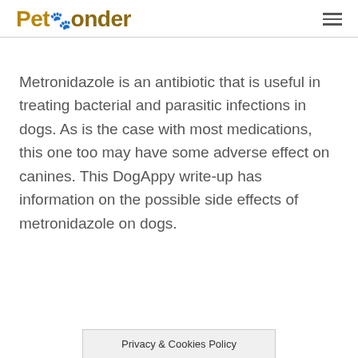PetPonder
Metronidazole is an antibiotic that is useful in treating bacterial and parasitic infections in dogs. As is the case with most medications, this one too may have some adverse effect on canines. This DogAppy write-up has information on the possible side effects of metronidazole on dogs.
Privacy & Cookies Policy